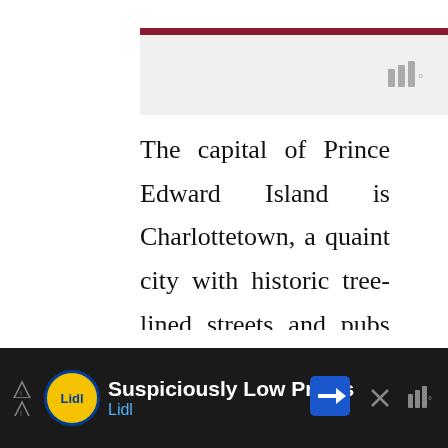The capital of Prince Edward Island is Charlottetown, a quaint city with historic tree-lined streets and pubs that have an Irish flair. A scenic journey along Blue Heron Drive will take you from Charlottetown to the center of the island, past serene Brackley Beach and the famous
[Figure (infographic): Ad bar at bottom: Lidl advertisement with yellow logo, text 'Suspiciously Low Prices' and 'Lidl', blue directional sign arrow, close button, and WiFi-like icon]